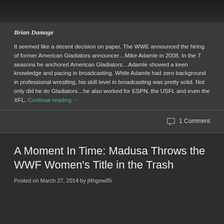[Figure (photo): Dark WWE-themed image at the top of the page, partially visible]
Brian Damage
It seemed like a decent decision on paper. The WWE announced the hiring of former American Gladiators announcer…Mike Adamle in 2008. In the 7 seasons he anchored American Gladiators…Adamle showed a keen knowledge and pacing in broadcasting. While Adamle had zero background in professional wrestling, his skill level in broadcasting was pretty solid. Not only did he do Gladiators…he also worked for ESPN, the USFL and even the XFL. Continue reading →
1 Comment
A Moment In Time: Madusa Throws the WWF Women's Title in the Trash
Posted on March 27, 2014 by jlithgow85